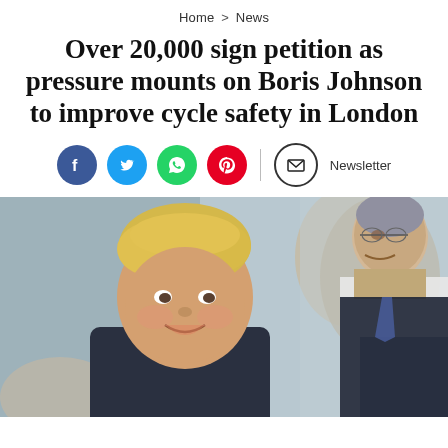Home > News
Over 20,000 sign petition as pressure mounts on Boris Johnson to improve cycle safety in London
[Figure (other): Social sharing icons: Facebook, Twitter, WhatsApp, Pinterest, Email (Newsletter)]
[Figure (photo): Photo of Boris Johnson (blond hair, looking up and smiling) alongside another man in a suit, in a crowd setting]